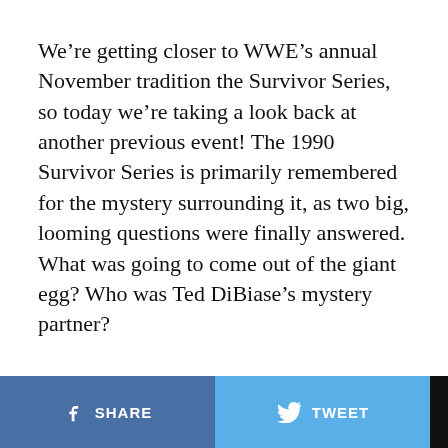We're getting closer to WWE's annual November tradition the Survivor Series, so today we're taking a look back at another previous event! The 1990 Survivor Series is primarily remembered for the mystery surrounding it, as two big, looming questions were finally answered. What was going to come out of the giant egg? Who was Ted DiBiase's mystery partner?
SHARE | TWEET